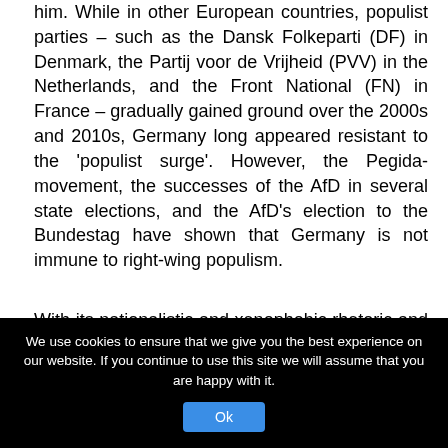him. While in other European countries, populist parties – such as the Dansk Folkeparti (DF) in Denmark, the Partij voor de Vrijheid (PVV) in the Netherlands, and the Front National (FN) in France – gradually gained ground over the 2000s and 2010s, Germany long appeared resistant to the 'populist surge'. However, the Pegida-movement, the successes of the AfD in several state elections, and the AfD's election to the Bundestag have shown that Germany is not immune to right-wing populism.
With its nationalistic and xenophobic rhetoric and standpoints, the AfD rails against certain core principles of the open society, including freedom of religion and cultural pluralism. Its rise in popularity has therefore raised concerns among commentators about the future of the open society
[Figure (screenshot): Cookie consent banner with black background, white text reading 'We use cookies to ensure that we give you the best experience on our website. If you continue to use this site we will assume that you are happy with it.' and a blue 'Ok' button.]